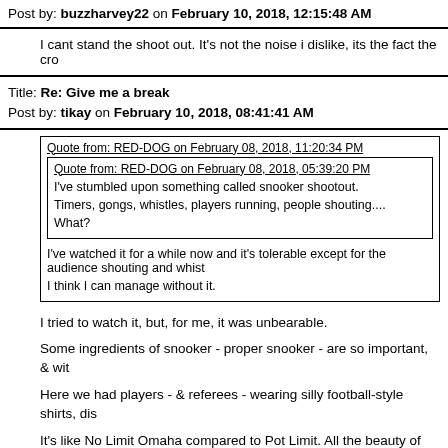Post by: buzzharvey22 on February 10, 2018, 12:15:48 AM
I cant stand the shoot out. It's not the noise i dislike, its the fact the cro
Title: Re: Give me a break
Post by: tikay on February 10, 2018, 08:41:41 AM
Quote from: RED-DOG on February 08, 2018, 11:20:34 PM
Quote from: RED-DOG on February 08, 2018, 05:39:20 PM
I've stumbled upon something called snooker shootout.
Timers, gongs, whistles, players running, people shouting....
What?
I've watched it for a while now and it's tolerable except for the audience shouting and whist
I think I can manage without it.
I tried to watch it, but, for me, it was unbearable.
Some ingredients of snooker - proper snooker - are so important, & wit
Here we had players - & referees - wearing silly football-style shirts, dis
It's like No Limit Omaha compared to Pot Limit. All the beauty of the ga
I suppose it's a generation thing, but they'll have to manage without my
Such a shame that so many beautiful, pure sports are being ruined.